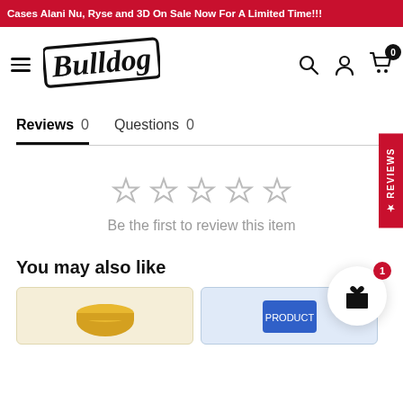Cases Alani Nu, Ryse and 3D On Sale Now For A Limited Time!!!
[Figure (logo): Bulldog brand logo in stylized italic script with border]
Reviews 0    Questions 0
[Figure (other): Five empty/gray star rating icons]
Be the first to review this item
[Figure (other): Gift/rewards widget circle with badge showing 1]
You may also like
[Figure (photo): Product card images partially visible at bottom]